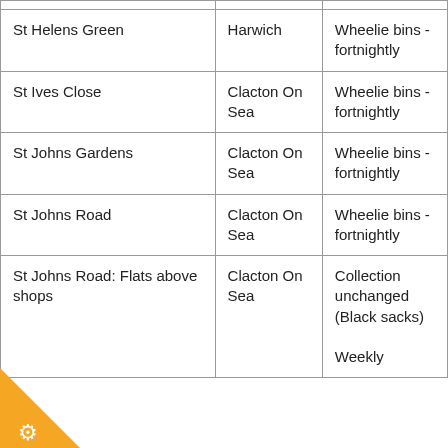| Street | Town | Collection type |
| --- | --- | --- |
| St Helens Green | Harwich | Wheelie bins - fortnightly |
| St Ives Close | Clacton On Sea | Wheelie bins - fortnightly |
| St Johns Gardens | Clacton On Sea | Wheelie bins - fortnightly |
| St Johns Road | Clacton On Sea | Wheelie bins - fortnightly |
| St Johns Road: Flats above shops | Clacton On Sea | Collection unchanged (Black sacks)

Weekly |